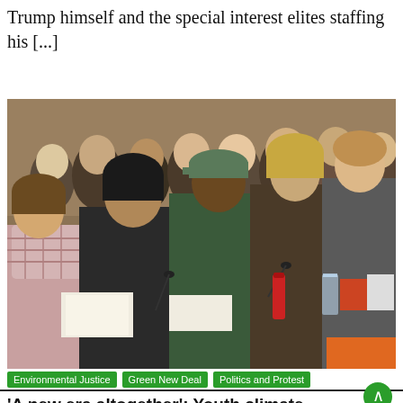Trump himself and the special interest elites staffing his [...]
[Figure (photo): Youth climate activists seated at a congressional hearing table with microphones, papers, and water bottles. Multiple young people visible including a young girl in a plaid shirt in the foreground.]
Environmental Justice
Green New Deal
Politics and Protest
'A new era altogether': Youth climate activists testify to congress